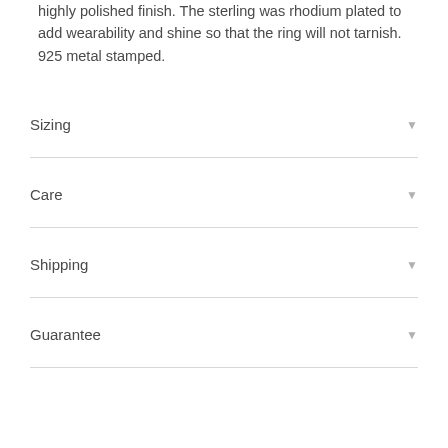highly polished finish. The sterling was rhodium plated to add wearability and shine so that the ring will not tarnish. 925 metal stamped.
Sizing
Care
Shipping
Guarantee